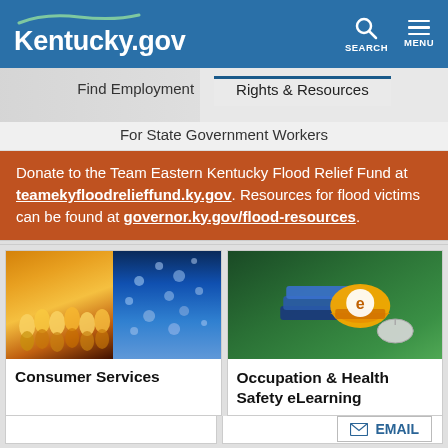Kentucky.gov
Find Employment | Rights & Resources | For State Government Workers
Donate to the Team Eastern Kentucky Flood Relief Fund at teamekyfloodrelieffund.ky.gov. Resources for flood victims can be found at governor.ky.gov/flood-resources.
[Figure (photo): Card showing lightbulbs (warm glow) on left and water droplets (blue) on right, representing Consumer Services]
Consumer Services
[Figure (photo): Card showing books, hard hat with 'e' logo, and computer mouse on green chalkboard background, representing Occupation & Health Safety eLearning]
Occupation & Health Safety eLearning
EMAIL